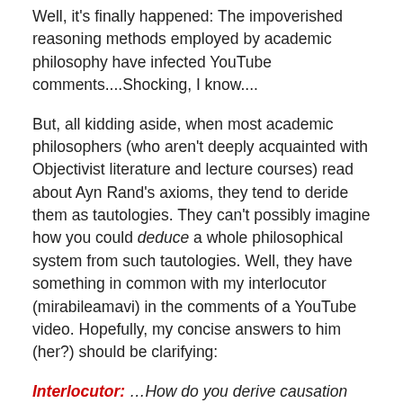Well, it's finally happened: The impoverished reasoning methods employed by academic philosophy have infected YouTube comments....Shocking, I know....
But, all kidding aside, when most academic philosophers (who aren't deeply acquainted with Objectivist literature and lecture courses) read about Ayn Rand's axioms, they tend to deride them as tautologies. They can't possibly imagine how you could deduce a whole philosophical system from such tautologies. Well, they have something in common with my interlocutor (mirabileamavi) in the comments of a YouTube video. Hopefully, my concise answers to him (her?) should be clarifying:
Interlocutor: ...How do you derive causation from tautologies?